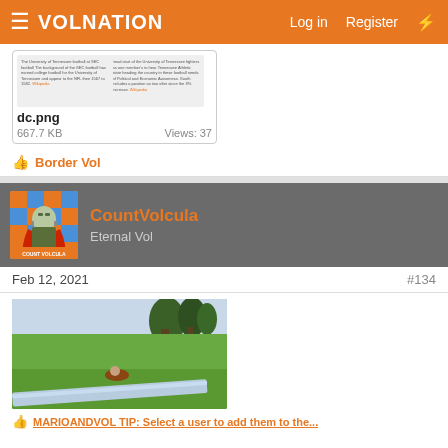VolNation — Log in  Register
[Figure (screenshot): Thumbnail preview of dc.png attachment showing two columns of text]
dc.png
667.7 KB    Views: 37
👍 Border Vol
[Figure (photo): Avatar image of CountVolcula — Frankenstein-like figure on an orange and blue checkered background with 'COUNT VOLCULA' label]
CountVolcula
Eternal Vol
Feb 12, 2021    #134
[Figure (photo): Photo of someone sliding down a slip-n-slide on a grassy lawn with trees in the background]
👍 MARIOANDVOL TIP: Select a user to add them to the...